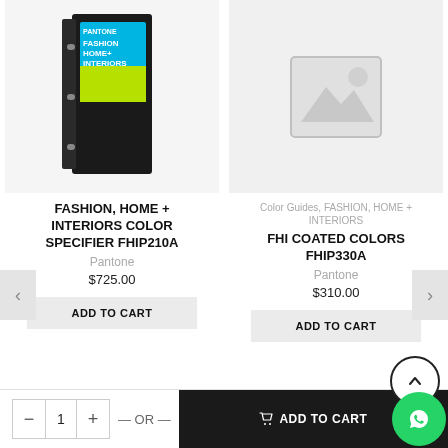[Figure (photo): Pantone Fashion Home + Interiors Color Specifier binder product photo]
[Figure (illustration): Placeholder image icon with mountain and sun outline]
FASHION, HOME + INTERIORS COLOR SPECIFIER FHIP210A
Color Guides, FASHION, HOME + INTERIORS
FHI COATED COLORS FHIP330A
Pantone
$725.00
Pantone
$310.00
ADD TO CART
ADD TO CART
— OR —
ADD TO CART